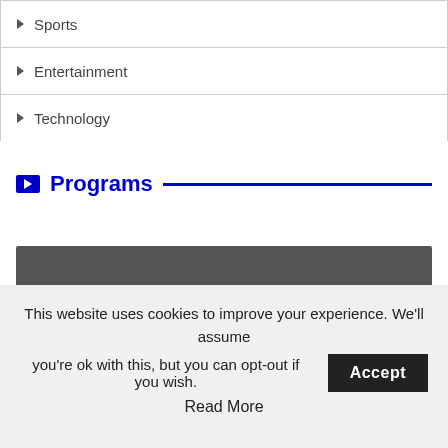▶ Sports
▶ Entertainment
▶ Technology
Programs
[Figure (other): Dark gray horizontal bar]
This website uses cookies to improve your experience. We'll assume you're ok with this, but you can opt-out if you wish. Accept Read More